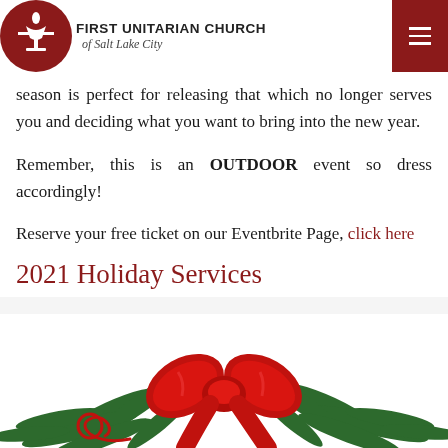FIRST UNITARIAN CHURCH of Salt Lake City
...nature of the sun. Create symbols of the season ...n area. This dark, contemplative season is perfect for releasing that which no longer serves you and deciding what you want to bring into the new year.
Remember, this is an OUTDOOR event so dress accordingly!
Reserve your free ticket on our Eventbrite Page, click here
2021 Holiday Services
[Figure (illustration): Holiday decorative image showing red ribbon bow with green pine/fir branches and a decorative tag with a curled ribbon, on a white background.]